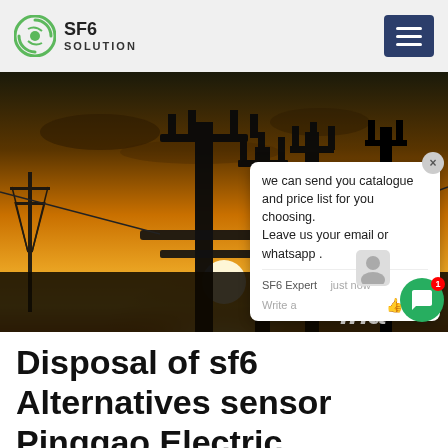SF6 SOLUTION
[Figure (photo): Electrical substation silhouetted against an orange sunset sky, with transmission towers and high-voltage equipment visible. A live chat popup overlay is visible in the lower-right of the image with text: 'we can send you catalogue and price list for you choosing. Leave us your email or whatsapp .' Attributed to SF6 Expert, 'just now'. The word 'ina' (part of 'China') appears bottom right.]
Disposal of sf6 Alternatives sensor Pinggao Electric
Disposal of sf6 Alternatives sensor Pinggao